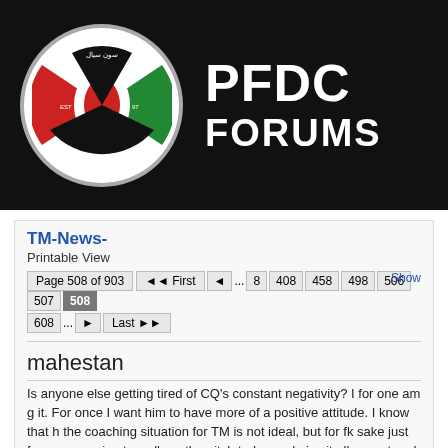[Figure (logo): PFDC Forums logo with Persian football circular emblem and white text PFDC FORUMS on black background]
TM-News-
Printable View
Page 508 of 903   First  ...  8  408  458  498  506  507  508  608  ...  Last
mahestan
Is anyone else getting tired of CQ's constant negativity? I for one am g it. For once I want him to have more of a positive attitude. I know that h the coaching situation for TM is not ideal, but for fk sake just for once s going to walk on the pitch today and give it all we got and get the win f
PersianLegion
Quote:
Originally Posted by mahestan »